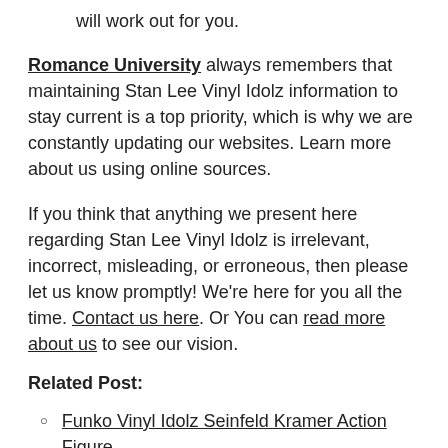will work out for you.
Romance University always remembers that maintaining Stan Lee Vinyl Idolz information to stay current is a top priority, which is why we are constantly updating our websites. Learn more about us using online sources.
If you think that anything we present here regarding Stan Lee Vinyl Idolz is irrelevant, incorrect, misleading, or erroneous, then please let us know promptly! We're here for you all the time. Contact us here. Or You can read more about us to see our vision.
Related Post:
Funko Vinyl Idolz Seinfeld Kramer Action Figure
Levi'S Stan G
Grunkle Stan Fez For Sale